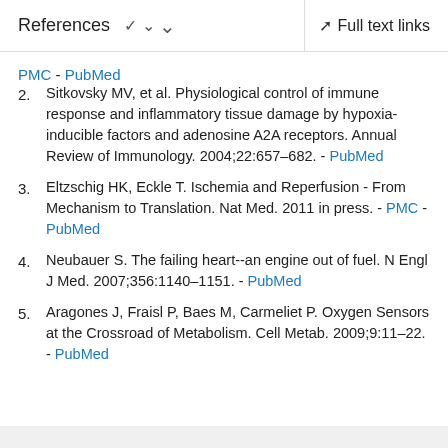References   ∨   Full text links
PMC - PubMed
2. Sitkovsky MV, et al. Physiological control of immune response and inflammatory tissue damage by hypoxia-inducible factors and adenosine A2A receptors. Annual Review of Immunology. 2004;22:657–682. - PubMed
3. Eltzschig HK, Eckle T. Ischemia and Reperfusion - From Mechanism to Translation. Nat Med. 2011 in press. - PMC - PubMed
4. Neubauer S. The failing heart--an engine out of fuel. N Engl J Med. 2007;356:1140–1151. - PubMed
5. Aragones J, Fraisl P, Baes M, Carmeliet P. Oxygen Sensors at the Crossroad of Metabolism. Cell Metab. 2009;9:11–22. - PubMed